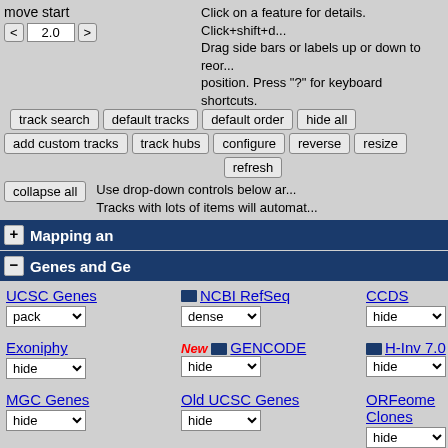move start
< 2.0 >
Click on a feature for details. Click+shift+d... Drag side bars or labels up or down to reor... position. Press "?" for keyboard shortcuts.
track search | default tracks | default order | hide all
add custom tracks | track hubs | configure | reverse | resize
refresh
Use drop-down controls below ar... Tracks with lots of items will automat...
collapse all
+ Mapping an
- Genes and Ge
UCSC Genes | pack
NCBI RefSeq | dense
CCDS | hide
Exoniphy | hide
New GENCODE | hide
H-Inv 7.0 | hide
MGC Genes | hide
Old UCSC Genes | hide
ORFeome Clones | hide
Retroposed Genes | hide
sno/miRNA | hide
TransMap V5 | hide
Vega Genes | hide
Yale Pseudo60 | hide